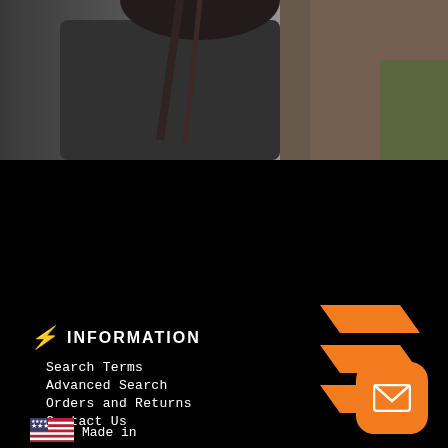[Figure (photo): Cropped photo of a person wearing a dark t-shirt with braided hair, outdoor background]
[Figure (logo): Orange geometric logo made of three horizontal parallelogram/chevron stripes stacked vertically, positioned top right of footer]
INFORMATION
Search Terms
Advanced Search
Orders and Returns
Contact Us
[Figure (illustration): US flag icon]
Made in